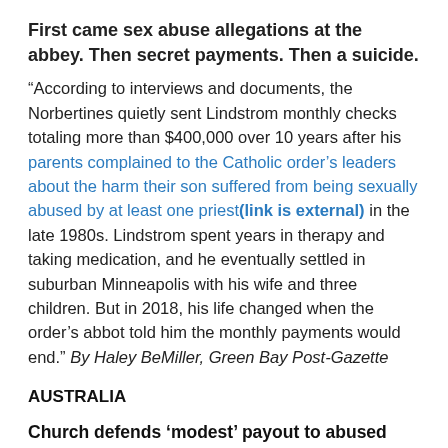First came sex abuse allegations at the abbey. Then secret payments. Then a suicide.
“According to interviews and documents, the Norbertines quietly sent Lindstrom monthly checks totaling more than $400,000 over 10 years after his parents complained to the Catholic order’s leaders about the harm their son suffered from being sexually abused by at least one priest(link is external) in the late 1980s. Lindstrom spent years in therapy and taking medication, and he eventually settled in suburban Minneapolis with his wife and three children. But in 2018, his life changed when the order’s abbot told him the monthly payments would end.” By Haley BeMiller, Green Bay Post-Gazette
AUSTRALIA
Church defends ‘modest’ payout to abused altar boy